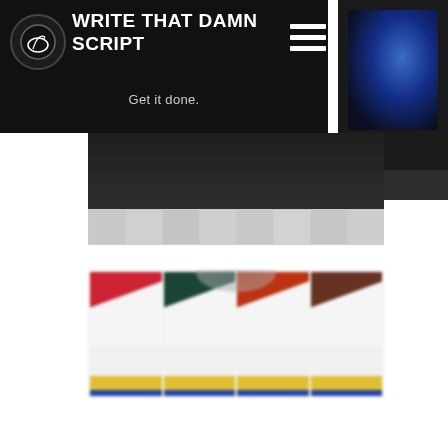WRITE THAT DAMN SCRIPT — Get it done.
[Figure (screenshot): Website header screenshot showing 'Write That Damn Script' blog with logo, navigation hamburger menu, tagline 'Get it done.', and two blurred content images below]
[Figure (photo): Blurred image of multiple book covers arranged in a row, with colorful spines and yellow/blue bottom bands]